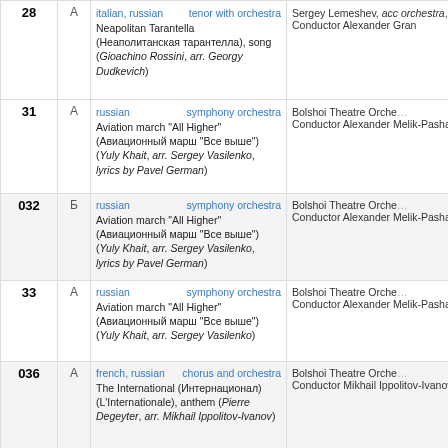| # | Side | Info | Artist |
| --- | --- | --- | --- |
| 28 | А | italian, russian | tenor with orchestra
Neapolitan Tarantella (Неаполитанская тарантелла), song (Gioachino Rossini, arr. Georgy Dudkevich) | Sergey Lemeshev, acc orchestra, Conductor Alexander Gran |
| 31 | А | russian | symphony orchestra
Aviation march "All Higher" (Авиационный марш "Все выше") (Yuly Khait, arr. Sergey Vasilenko, lyrics by Pavel German) | Bolshoi Theatre Orchestra, Conductor Alexander Melik-Pashaev |
| 032 | Б | russian | symphony orchestra
Aviation march "All Higher" (Авиационный марш "Все выше") (Yuly Khait, arr. Sergey Vasilenko, lyrics by Pavel German) | Bolshoi Theatre Orchestra, Conductor Alexander Melik-Pashaev |
| 33 | А | russian | symphony orchestra
Aviation march "All Higher" (Авиационный марш "Все выше") (Yuly Khait, arr. Sergey Vasilenko) | Bolshoi Theatre Orchestra, Conductor Alexander Melik-Pashaev |
| 036 | А | french, russian | chorus and orchestra
The International (Интернационал) (L'Internationale), anthem (Pierre Degeyter, arr. Mikhail Ippolitov-Ivanov) | Bolshoi Theatre Orchestra, Conductor Mikhail Ippolitov-Ivanov |